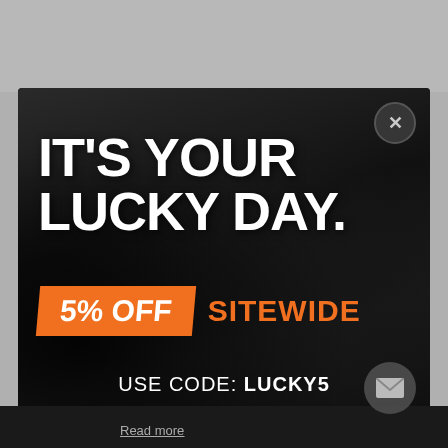[Figure (screenshot): A promotional popup/modal overlay on a dark background showing a discount offer. Dark background with outdoor equipment imagery. Close button (X) in top-right. Large white bold text reads 'IT'S YOUR LUCKY DAY.' An orange banner says '5% OFF' next to orange text 'SITEWIDE'. Bottom text reads 'USE CODE: LUCKY5'. A mail icon button in bottom-right corner. 'Read more' link visible at the very bottom.]